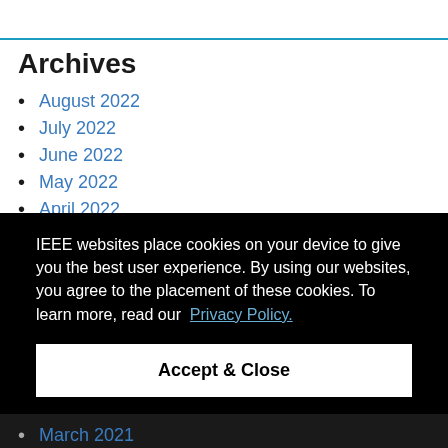Archives
August 2022
July 2022
June 2022
May 2022
April 2022
IEEE websites place cookies on your device to give you the best user experience. By using our websites, you agree to the placement of these cookies. To learn more, read our Privacy Policy.
Accept & Close
March 2021